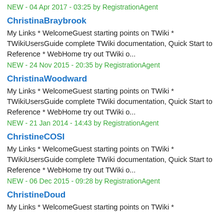NEW - 04 Apr 2017 - 03:25 by RegistrationAgent
ChristinaBraybrook
My Links * WelcomeGuest starting points on TWiki * TWikiUsersGuide complete TWiki documentation, Quick Start to Reference * WebHome try out TWiki o...
NEW - 24 Nov 2015 - 20:35 by RegistrationAgent
ChristinaWoodward
My Links * WelcomeGuest starting points on TWiki * TWikiUsersGuide complete TWiki documentation, Quick Start to Reference * WebHome try out TWiki o...
NEW - 21 Jan 2014 - 14:43 by RegistrationAgent
ChristineCOSI
My Links * WelcomeGuest starting points on TWiki * TWikiUsersGuide complete TWiki documentation, Quick Start to Reference * WebHome try out TWiki o...
NEW - 06 Dec 2015 - 09:28 by RegistrationAgent
ChristineDoud
My Links * WelcomeGuest starting points on TWiki *